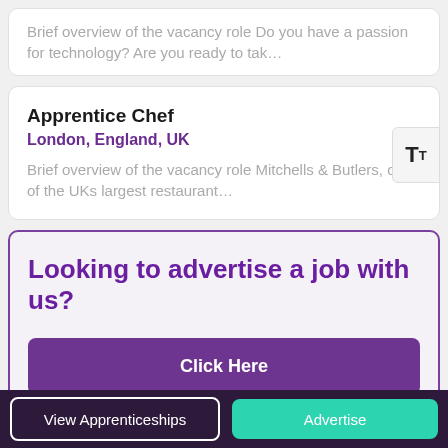Brief overview of the vacancy role Do you have a passion for technology? Are you ready to tak…
Apprentice Chef
London, England, UK
Brief overview of the vacancy role Mitchells & Butlers, one of the UKs largest restaurant…
Looking to advertise a job with us?
Click Here
View Apprenticeships
Advertise